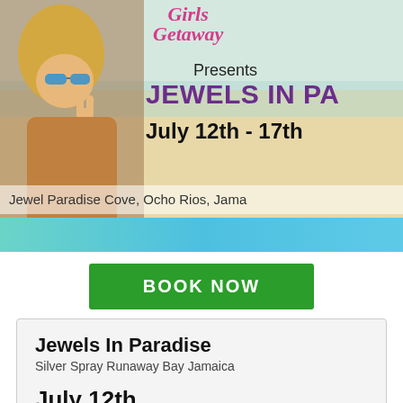[Figure (illustration): Girls Getaway banner with woman wearing sunglasses on beach background. Shows logo 'Girls Getaway', text 'Presents', 'JEWELS IN PA[RADISE]', 'July 12th - 17th', and location 'Jewel Paradise Cove, Ocho Rios, Jama[ica]']
BOOK NOW
Jewels In Paradise
Silver Spray Runaway Bay Jamaica
July 12th
2018
5 Days